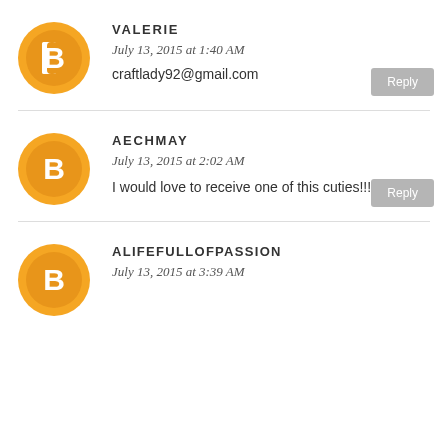[Figure (illustration): Blogger avatar icon: orange circle with white B logo]
VALERIE
July 13, 2015 at 1:40 AM
craftlady92@gmail.com
Reply
[Figure (illustration): Blogger avatar icon: orange circle with white B logo]
AECHMAY
July 13, 2015 at 2:02 AM
I would love to receive one of this cuties!!!!!!
Reply
[Figure (illustration): Blogger avatar icon: orange circle with white B logo]
ALIFEFULLOFPASSION
July 13, 2015 at 3:39 AM